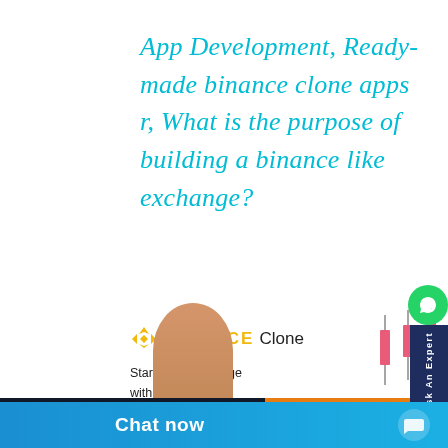App Development, Ready-made binance clone apps r, What is the purpose of building a binance like exchange?
[Figure (screenshot): Binance Clone app promotional banner showing logo, trading chart UI, mobile phone screenshot with crypto exchange UI, Bitcoin coin icon, a chat agent, CHAT NOW orange button, and a Chat now blue bar at the bottom.]